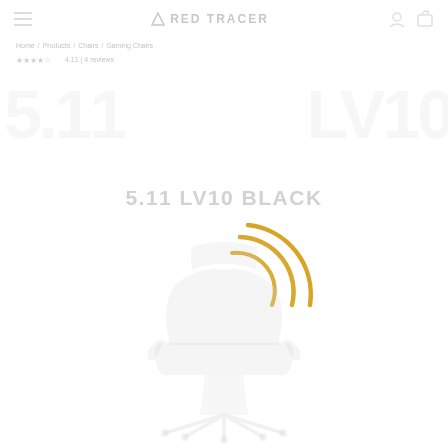RED TRACER
Home / Products / Chairs / Gaming Chairs
4.11 | 4 reviews
5.11 LV10 BLACK
[Figure (illustration): Yellow loading spinner arcs (three concentric arcs curving to the right, golden/yellow color) centered on the page, overlapping the product name text. Below the spinner is a faint silhouette of a gaming chair in light gray.]
[Figure (photo): Faint ghosted silhouette of a gaming/office chair in very light gray at the bottom center of the page]